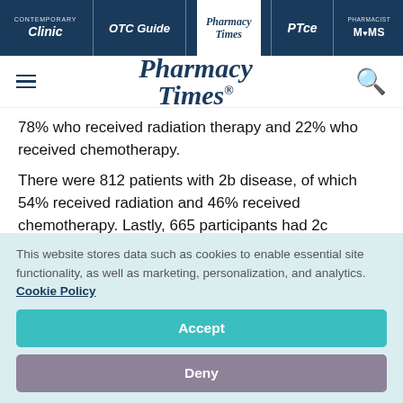Clinic | OTC Guide | Pharmacy Times | PTce | Pharmacist MOMS
[Figure (logo): Pharmacy Times logo with hamburger menu and search icon]
78% who received radiation therapy and 22% who received chemotherapy.
There were 812 patients with 2b disease, of which 54% received radiation and 46% received chemotherapy. Lastly, 665 participants had 2c
This website stores data such as cookies to enable essential site functionality, as well as marketing, personalization, and analytics. Cookie Policy
Accept
Deny